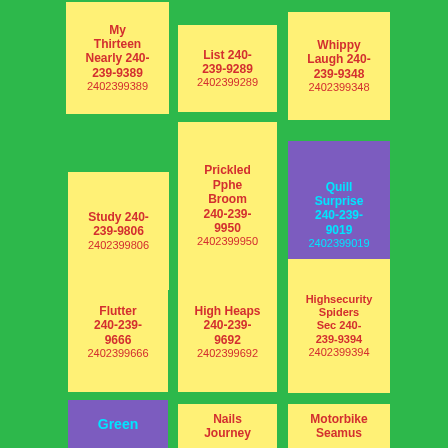My Thirteen Nearly 240-239-9389 2402399389
List 240-239-9289 2402399289
Whippy Laugh 240-239-9348 2402399348
Study 240-239-9806 2402399806
Prickled Pphe Broom 240-239-9950 2402399950
Quill Surprise 240-239-9019 2402399019
Flutter 240-239-9666 2402399666
High Heaps 240-239-9692 2402399692
Highsecurity Spiders Sec 240-239-9394 2402399394
Green
Nails Journey
Motorbike Seamus